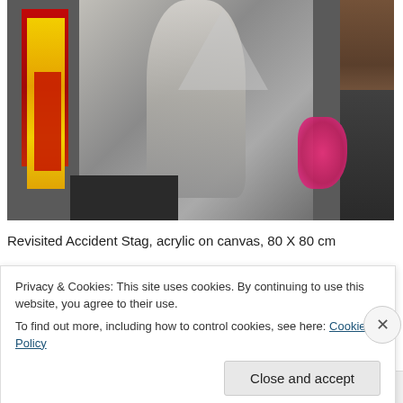[Figure (photo): Abstract painting combining figurative and expressive elements: bold yellow and red brushstrokes on the left, a central gray figurative form (draped figure), a pink splatter on the right, brown tones upper right, and dark areas at bottom.]
Revisited Accident Stag, acrylic on canvas, 80 X 80 cm
Privacy & Cookies: This site uses cookies. By continuing to use this website, you agree to their use.
To find out more, including how to control cookies, see here: Cookie Policy
Follow ···